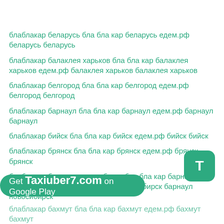блаблакар беларусь бла бла кар беларусь едем.рф беларусь беларусь
блаблакар балаклея харьков бла бла кар балаклея харьков едем.рф балаклея харьков балаклея харьков
блаблакар белгород бла бла кар белгород едем.рф белгород белгород
блаблакар барнаул бла бла кар барнаул едем.рф барнаул барнаул
блаблакар бийск бла бла кар бийск едем.рф бийск бийск
блаблакар брянск бла бла кар брянск едем.рф брянск брянск
блаблакар барнаул новосибирск бла бла кар барнаул новосибирск едем.рф барнаул новосибирск барнаул новосибирск
блаблакар бахмут бла бла кар бахмут едем.рф бахмут бахмут